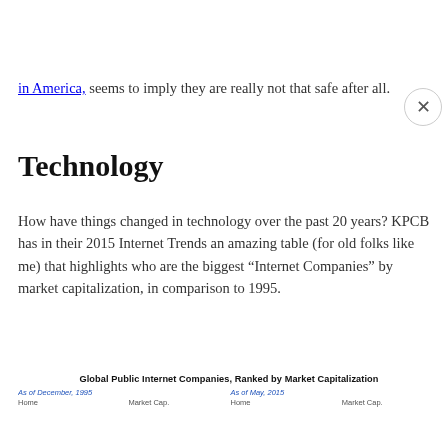in America, seems to imply they are really not that safe after all.
Technology
How have things changed in technology over the past 20 years? KPCB has in their 2015 Internet Trends an amazing table (for old folks like me) that highlights who are the biggest “Internet Companies” by market capitalization, in comparison to 1995.
Global Public Internet Companies, Ranked by Market Capitalization
| As of December, 1995 — Home, Market Cap. | As of May, 2015 — Home, Market Cap. |
| --- | --- |